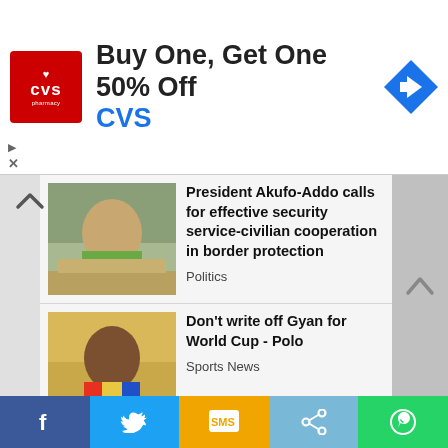[Figure (screenshot): CVS Pharmacy advertisement banner: red CVS logo on left, text 'Buy One, Get One 50% Off' and 'CVS' in blue, blue diamond arrow icon on right]
[Figure (photo): President Akufo-Addo seated at a desk, smiling, wearing a green shirt]
President Akufo-Addo calls for effective security service-civilian cooperation in border protection
Politics
[Figure (photo): Man in yellow and blue sports jersey, portrait shot]
Don't write off Gyan for World Cup - Polo
Sports News
[Figure (photo): Soccer player in blue and white striped jersey on a pitch]
Stars' Recruits to test Brazil's mettle